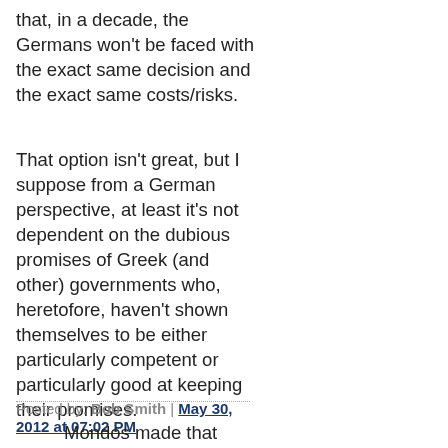that, in a decade, the Germans won't be faced with the exact same decision and the exact same costs/risks.
That option isn't great, but I suppose from a German perspective, at least it's not dependent on the dubious promises of Greek (and other) governments who, heretofore, haven't shown themselves to be either particularly competent or particularly good at keeping their promises.
Posted by: Bob Smith | May 30, 2012 at 07:02 PM
Mondos made that